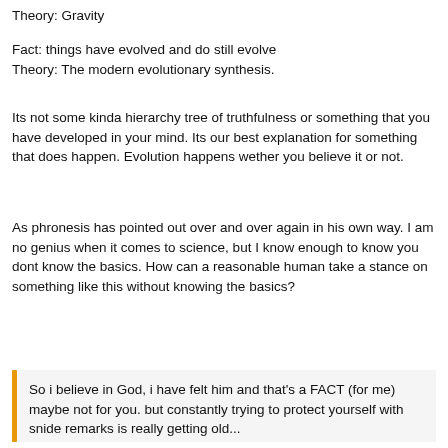Theory: Gravity
Fact: things have evolved and do still evolve
Theory: The modern evolutionary synthesis.
Its not some kinda hierarchy tree of truthfulness or something that you have developed in your mind. Its our best explanation for something that does happen. Evolution happens wether you believe it or not.
As phronesis has pointed out over and over again in his own way. I am no genius when it comes to science, but I know enough to know you dont know the basics. How can a reasonable human take a stance on something like this without knowing the basics?
So i believe in God, i have felt him and that's a FACT (for me) maybe not for you. but constantly trying to protect yourself with snide remarks is really getting old...